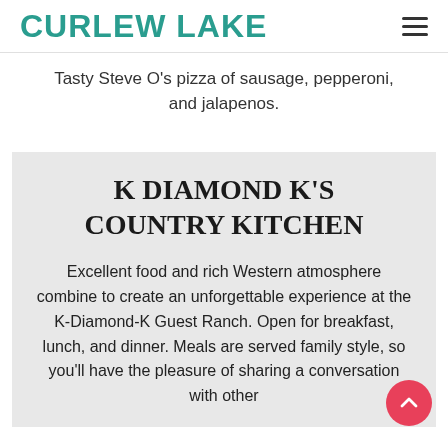CURLEW LAKE
Tasty Steve O's pizza of sausage, pepperoni, and jalapenos.
K DIAMOND K'S COUNTRY KITCHEN
Excellent food and rich Western atmosphere combine to create an unforgettable experience at the K-Diamond-K Guest Ranch. Open for breakfast, lunch, and dinner. Meals are served family style, so you'll have the pleasure of sharing a conversation with other